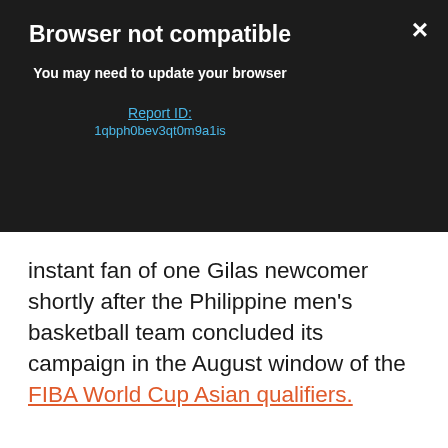[Figure (screenshot): Browser not compatible modal overlay with dark background. Title reads 'Browser not compatible', subtitle reads 'You may need to update your browser', followed by a Report ID link and alphanumeric ID. An X close button is in the top right.]
instant fan of one Gilas newcomer shortly after the Philippine men's basketball team concluded its campaign in the August window of the FIBA World Cup Asian qualifiers.
More than Jordan Clarkson, Dwight Ramos, and Kai Sotto, it was Calvin Oftana who caught the attention of Pingris during the team's 84-46 win over Saudi Arabia at the Mall of Asia Arena.